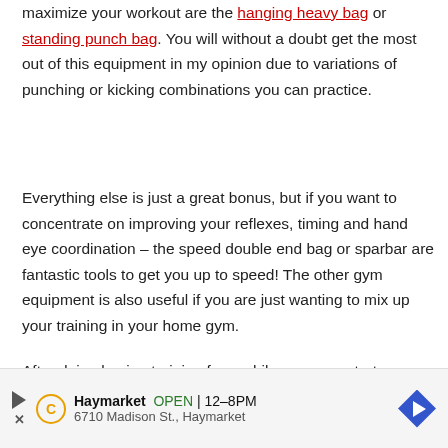maximize your workout are the hanging heavy bag or standing punch bag. You will without a doubt get the most out of this equipment in my opinion due to variations of punching or kicking combinations you can practice.
Everything else is just a great bonus, but if you want to concentrate on improving your reflexes, timing and hand eye coordination – the speed double end bag or sparbar are fantastic tools to get you up to speed! The other gym equipment is also useful if you are just wanting to mix up your training in your home gym.
After doing boxing training for a while now, you start realizing it's all about repetition and I feel it's important for
[Figure (other): Advertisement banner for Haymarket business: shows play button icon, C logo icon, business name 'Haymarket', status 'OPEN 12-8PM', address '6710 Madison St., Haymarket', and a blue diamond navigation arrow icon.]